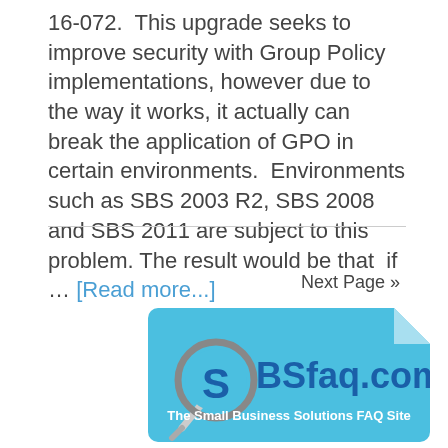16-072.  This upgrade seeks to improve security with Group Policy implementations, however due to the way it works, it actually can break the application of GPO in certain environments.  Environments such as SBS 2003 R2, SBS 2008 and SBS 2011 are subject to this problem. The result would be that  if … [Read more...]
Next Page »
[Figure (logo): SBSfaq.com logo — blue rounded rectangle with a magnifying glass icon on the left, large bold text 'SBSfaq.com', and subtitle 'The Small Business Solutions FAQ Site'. A folded page corner appears at top right.]